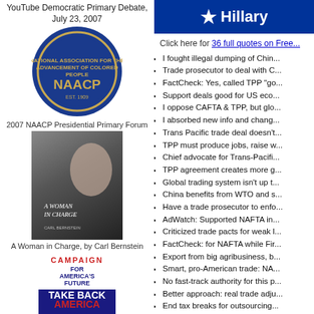YouTube Democratic Primary Debate, July 23, 2007
[Figure (logo): NAACP circular seal/logo with blue background and gold border]
2007 NAACP Presidential Primary Forum
[Figure (photo): Book cover: A Woman in Charge by Carl Bernstein, showing profile of Hillary Clinton]
A Woman in Charge, by Carl Bernstein
[Figure (logo): Campaign for America's Future logo with Take Back America 2007 text]
Take Back America 2007 Conference
[Figure (photo): Book cover: Her Way, by Jeff Gerth and Don Van Natta, showing profile of Hillary Clinton]
Her Way, by Jeff Gerth & Don Van Natta
Hillary
Click here for 36 full quotes on Free...
I fought illegal dumping of Chin...
Trade prosecutor to deal with C...
FactCheck: Yes, called TPP "go...
Support deals good for US eco...
I oppose CAFTA & TPP, but glo...
I absorbed new info and chang...
Trans Pacific trade deal doesn't...
TPP must produce jobs, raise w...
Chief advocate for Trans-Pacifi...
TPP agreement creates more g...
Global trading system isn't up t...
China benefits from WTO and s...
Have a trade prosecutor to enfo...
AdWatch: Supported NAFTA in...
Criticized trade pacts for weak l...
FactCheck: for NAFTA while Fir...
Export from big agribusiness, b...
Smart, pro-American trade: NA...
No fast-track authority for this p...
Better approach: real trade adju...
End tax breaks for outsourcing...
Defended outsourcing of US jo...
Globalization should not substit...
Supports MFN for China, despi...
Voting Record